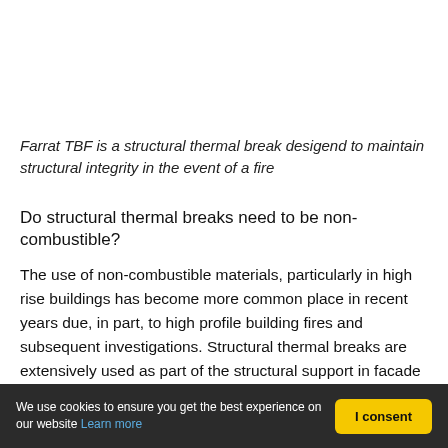Farrat TBF is a structural thermal break desigend to maintain structural integrity in the event of a fire
Do structural thermal breaks need to be non-combustible?
The use of non-combustible materials, particularly in high rise buildings has become more common place in recent years due, in part, to high profile building fires and subsequent investigations. Structural thermal breaks are extensively used as part of the structural support in facade systems or as the main structural connection in balconies. These elements are key to the
We use cookies to ensure you get the best experience on our website Learn more | I consent